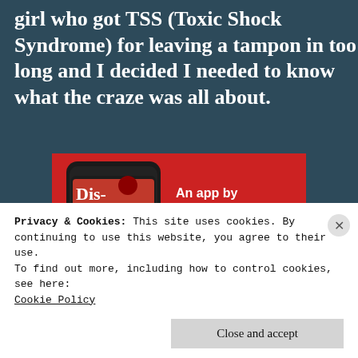girl who got TSS (Toxic Shock Syndrome) for leaving a tampon in too long and I decided I needed to know what the craze was all about.
[Figure (screenshot): Advertisement banner showing a smartphone displaying a podcast app with text 'Distributed'. Red background with white text reading 'An app by listeners, for listeners.' and a 'Download now' button.]
Privacy & Cookies: This site uses cookies. By continuing to use this website, you agree to their use.
To find out more, including how to control cookies, see here:
Cookie Policy
Close and accept